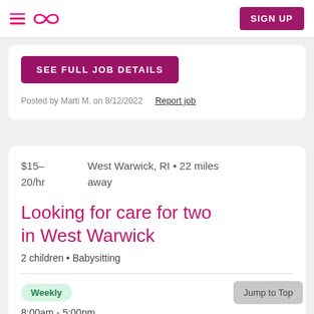SIGN UP
SEE FULL JOB DETAILS
Posted by Marti M. on 8/12/2022   Report job
$15–20/hr   West Warwick, RI • 22 miles away
Looking for care for two in West Warwick
2 children • Babysitting
Weekly
8:00am - 5:00pm
Jump to Top